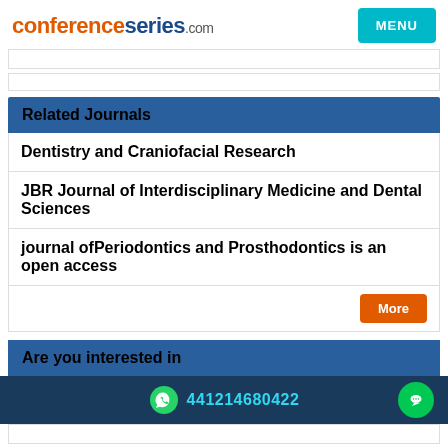conferenceseries.com
Related Journals
Dentistry and Craniofacial Research
JBR Journal of Interdisciplinary Medicine and Dental Sciences
journal ofPeriodontics and Prosthodontics is an open access
Are you interested in
441214680422